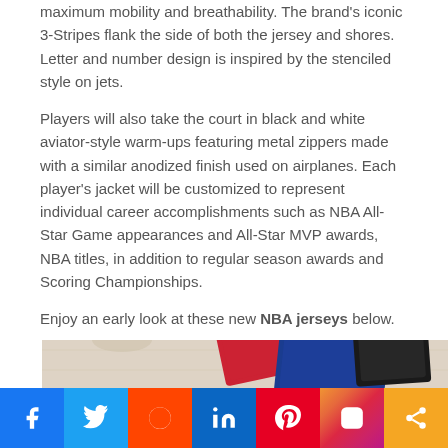maximum mobility and breathability. The brand's iconic 3-Stripes flank the side of both the jersey and shores. Letter and number design is inspired by the stenciled style on jets.
Players will also take the court in black and white aviator-style warm-ups featuring metal zippers made with a similar anodized finish used on airplanes. Each player's jacket will be customized to represent individual career accomplishments such as NBA All-Star Game appearances and All-Star MVP awards, NBA titles, in addition to regular season awards and Scoring Championships.
Enjoy an early look at these new NBA jerseys below.
[Figure (photo): Folded NBA jerseys in red, blue, and black colors displayed on a light wood surface]